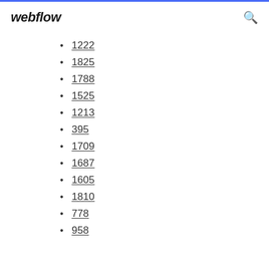webflow
1222
1825
1788
1525
1213
395
1709
1687
1605
1810
778
958